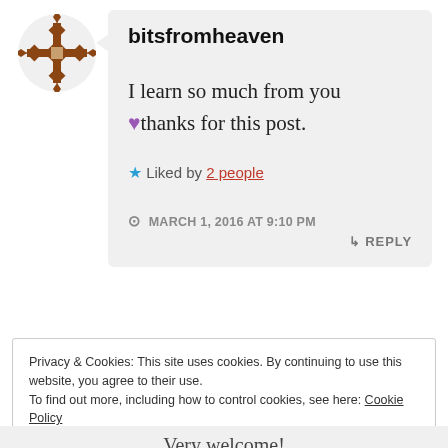[Figure (logo): Decorative avatar icon — brown geometric star/cross pattern on white circle background]
bitsfromheaven
I learn so much from you 💜thanks for this post.
★ Liked by 2 people
🕐 MARCH 1, 2016 AT 9:10 PM
↳ REPLY
Privacy & Cookies: This site uses cookies. By continuing to use this website, you agree to their use.
To find out more, including how to control cookies, see here: Cookie Policy
Close and accept
Very welcome!